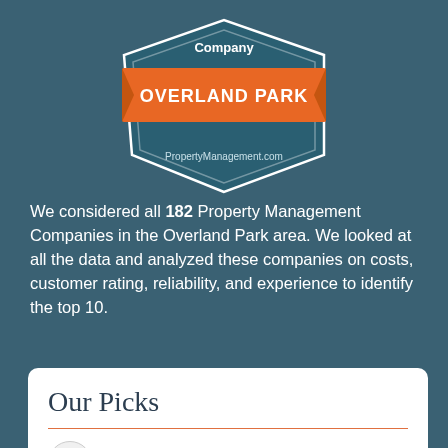[Figure (illustration): Badge/shield shaped award graphic for property management company in Overland Park. Teal/dark shield shape with orange ribbon banner across middle reading 'OVERLAND PARK'. Text 'Company' at top of shield. 'PropertyManagement.com' at bottom of shield.]
We considered all 182 Property Management Companies in the Overland Park area. We looked at all the data and analyzed these companies on costs, customer rating, reliability, and experience to identify the top 10.
Our Picks
33rd Company, KS